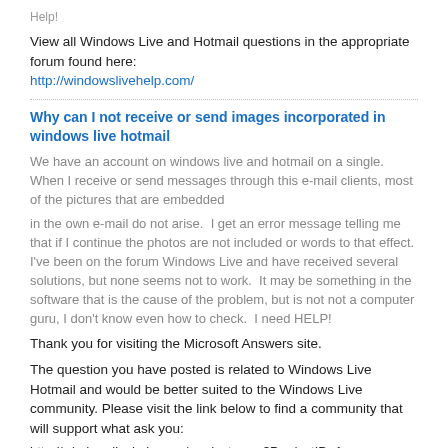Help!
View all Windows Live and Hotmail questions in the appropriate forum found here:
http://windowslivehelp.com/
Why can I not receive or send images incorporated in windows live hotmail
We have an account on windows live and hotmail on a single. When I receive or send messages through this e-mail clients, most of the pictures that are embedded
in the own e-mail do not arise.  I get an error message telling me that if I continue the photos are not included or words to that effect. I've been on the forum Windows Live and have received several solutions, but none seems not to work.  It may be something in the software that is the cause of the problem, but is not not a computer guru, I don't know even how to check.  I need HELP!
Thank you for visiting the Microsoft Answers site.
The question you have posted is related to Windows Live Hotmail and would be better suited to the Windows Live community. Please visit the link below to find a community that will support what ask you:
http://windowslivehelp.com/product.aspx?ProductID=1
I can't send emails, this error occurs: warning Windows Live